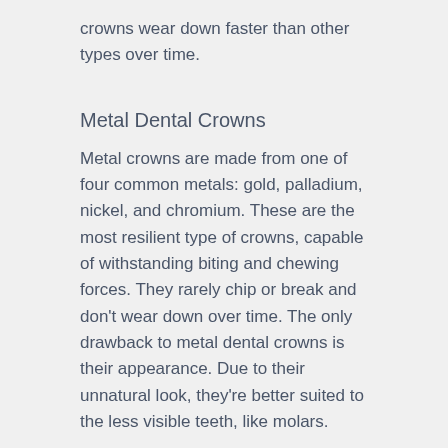crowns wear down faster than other types over time.
Metal Dental Crowns
Metal crowns are made from one of four common metals: gold, palladium, nickel, and chromium. These are the most resilient type of crowns, capable of withstanding biting and chewing forces. They rarely chip or break and don’t wear down over time. The only drawback to metal dental crowns is their appearance. Due to their unnatural look, they’re better suited to the less visible teeth, like molars.
All-Ceramic & All-Porcelain Dental Crowns